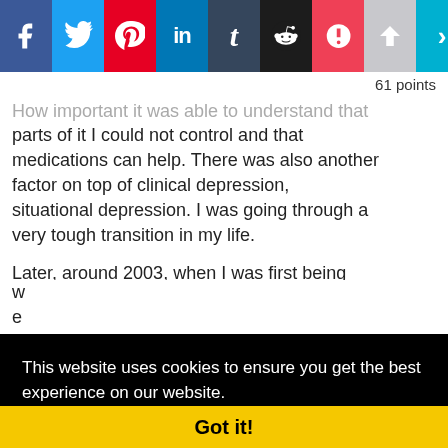[Figure (screenshot): Social media sharing toolbar with buttons for Facebook, Twitter, Pinterest, LinkedIn, Tumblr, Reddit, Pocket, upvote, and a more arrow.]
61 points
...How important it was able to understand that parts of it I could not control and that medications can help. There was also another factor on top of clinical depression, situational depression. I was going through a very tough transition in my life.
Later, around 2003, when I was first being...
This website uses cookies to ensure you get the best experience on our website. Learn more
Got it!
attempts. Even in the healthcare field, I was